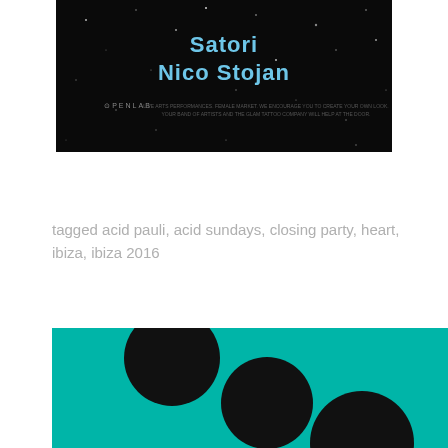[Figure (photo): Event flyer with dark starry background showing text 'Satori Nico Stojan' with OPENLAB branding and small print text]
tagged acid pauli, acid sundays, closing party, heart, ibiza, ibiza 2016
[Figure (illustration): Teal/turquoise background with three black circles of increasing size arranged diagonally from upper-left to lower-right, partially cropped]